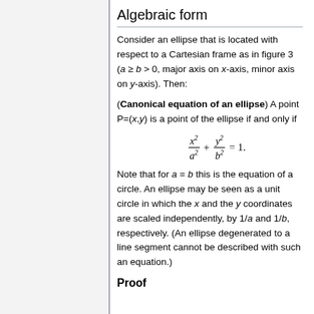Algebraic form
Consider an ellipse that is located with respect to a Cartesian frame as in figure 3 (a ≥ b > 0, major axis on x-axis, minor axis on y-axis). Then:
(Canonical equation of an ellipse) A point P=(x,y) is a point of the ellipse if and only if
Note that for a = b this is the equation of a circle. An ellipse may be seen as a unit circle in which the x and the y coordinates are scaled independently, by 1/a and 1/b, respectively. (An ellipse degenerated to a line segment cannot be described with such an equation.)
Proof